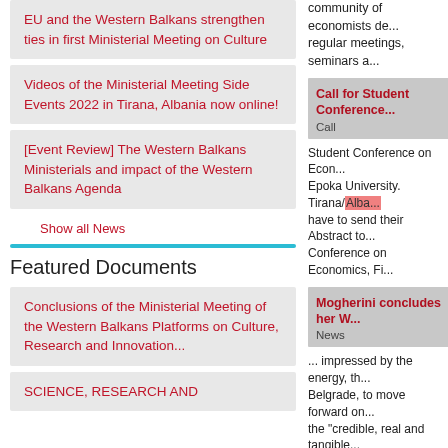EU and the Western Balkans strengthen ties in first Ministerial Meeting on Culture
Videos of the Ministerial Meeting Side Events 2022 in Tirana, Albania now online!
[Event Review] The Western Balkans Ministerials and impact of the Western Balkans Agenda
Show all News
Featured Documents
Conclusions of the Ministerial Meeting of the Western Balkans Platforms on Culture, Research and Innovation...
SCIENCE, RESEARCH AND
community of economists de... regular meetings, seminars a...
Call for Student Conference
Call
Student Conference on Econ... Epoka University. Tirana/Alba... have to send their Abstract to... Conference on Economics, Fi...
Mogherini concludes her W...
News
... impressed by the energy, th... Belgrade, to move forward on... the "credible, real and tangible... stop on her trip through the W... played and is continuing to pla... the Western Balkans the enla...
[APPLY BY 8 JUNE] Investi...
News
... neighbourhood countries in...